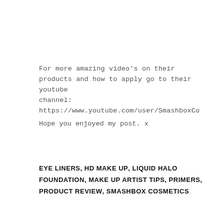For more amazing video's on their products and how to apply go to their youtube channel: https://www.youtube.com/user/SmashboxCo
Hope you enjoyed my post. x
EYE LINERS, HD MAKE UP, LIQUID HALO FOUNDATION, MAKE UP ARTIST TIPS, PRIMERS, PRODUCT REVIEW, SMASHBOX COSMETICS